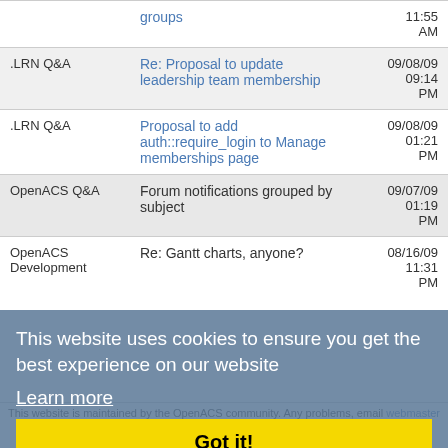| Forum | Subject | Date |
| --- | --- | --- |
|  | groups | 11:55 AM |
| .LRN Q&A | Re: Proposal to update leadership team membership | 09/08/09 09:14 PM |
| .LRN Q&A | Proposal to add auth::require_login to Manage memberships page | 09/08/09 01:21 PM |
| OpenACS Q&A | Forum notifications grouped by subject | 09/07/09 01:19 PM |
| OpenACS Development | Re: Gantt charts, anyone? | 08/16/09 11:31 PM |
This website uses cookies to ensure you get the best experience on our website
Learn more
Got it!
This website is maintained by the OpenACS community. Any problems, email webmaster or submit a bug report. (Powered by Tcl, Next Scripting, NaviServer 4.99.24, IPv4)